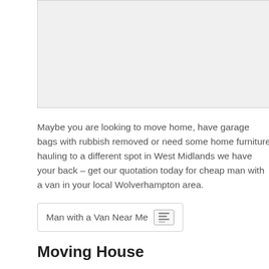[Figure (photo): Grey placeholder image area at the top of the page]
Maybe you are looking to move home, have garage bags with rubbish removed or need some home furniture hauling to a different spot in West Midlands we have your back – get our quotation today for cheap man with a van in your local Wolverhampton area.
Man with a Van Near Me
Moving House
Many people need to know what the best way is to move to a new house at the cheapest price. You might consider renting a van for the week or hiring a nationwide removals firm, however this will likely cost 1000s of pounds so get a quick